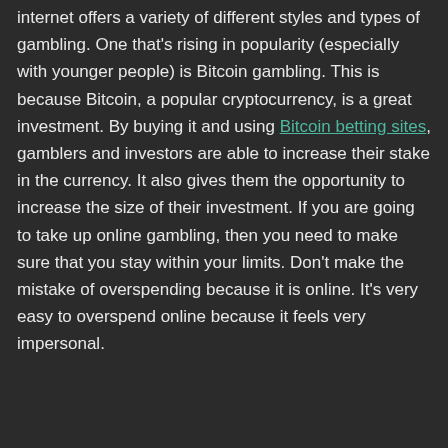internet offers a variety of different styles and types of gambling. One that's rising in popularity (especially with younger people) is Bitcoin gambling. This is because Bitcoin, a popular cryptocurrency, is a great investment. By buying it and using Bitcoin betting sites, gamblers and investors are able to increase their stake in the currency. It also gives them the opportunity to increase the size of their investment. If you are going to take up online gambling, then you need to make sure that you stay within your limits. Don't make the mistake of overspending because it is online. It's very easy to overspend online because it feels very impersonal.